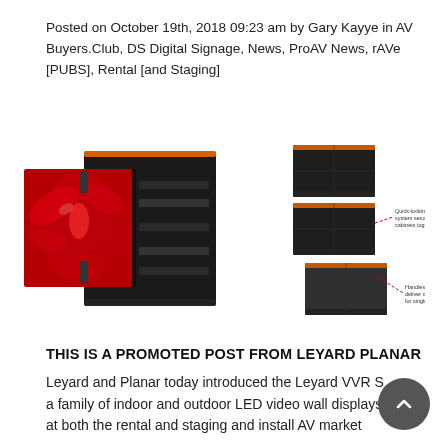Posted on October 19th, 2018 09:23 am by Gary Kayye in AV Buyers.Club, DS Digital Signage, News, ProAV News, rAVe [PUBS], Rental [and Staging]
[Figure (photo): LED video wall panel showing a red flower image on front and black back panel with connectors, side by side.]
[Figure (engineering-diagram): Diagram showing multiple LED video wall panels assembling together. Labels read: Quick-locking system secures cabinets together; Handles and locking pins deliver convenient design for single-person handling.]
THIS IS A PROMOTED POST FROM LEYARD PLANAR
Leyard and Planar today introduced the Leyard VVR S a family of indoor and outdoor LED video wall displays at both the rental and staging and install AV market